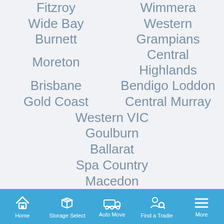Fitzroy
Wimmera
Wide Bay Burnett
Western Grampians
Moreton
Central Highlands
Brisbane
Bendigo Loddon
Gold Coast
Central Murray
Western VIC
Goulburn
Ballarat
Spa Country
Macedon
Home   Storage Select   Auto Move   Find a Tradie   More